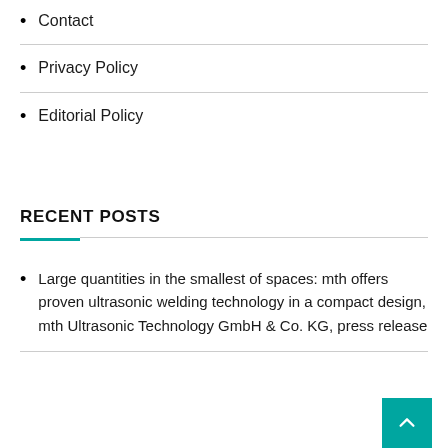Contact
Privacy Policy
Editorial Policy
RECENT POSTS
Large quantities in the smallest of spaces: mth offers proven ultrasonic welding technology in a compact design, mth Ultrasonic Technology GmbH & Co. KG, press release